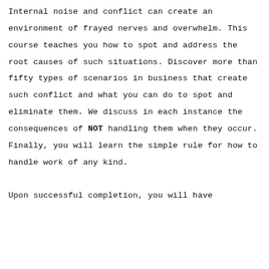Internal noise and conflict can create an environment of frayed nerves and overwhelm. This course teaches you how to spot and address the root causes of such situations. Discover more than fifty types of scenarios in business that create such conflict and what you can do to spot and eliminate them. We discuss in each instance the consequences of NOT handling them when they occur. Finally, you will learn the simple rule for how to handle work of any kind.

Upon successful completion, you will have